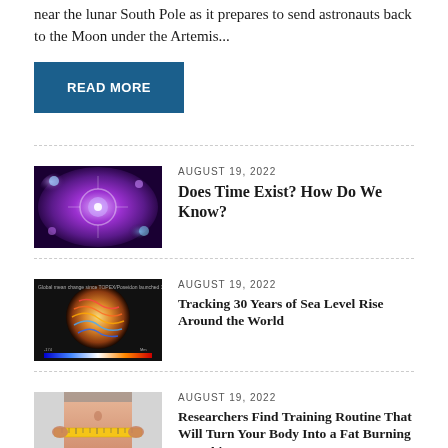near the lunar South Pole as it prepares to send astronauts back to the Moon under the Artemis...
READ MORE
[Figure (photo): Abstract purple and violet cosmic light burst with circular shapes, representing time or physics]
AUGUST 19, 2022
Does Time Exist? How Do We Know?
[Figure (photo): Globe of Earth with visualization of sea level rise data over 30 years, showing color-coded wave patterns]
AUGUST 19, 2022
Tracking 30 Years of Sea Level Rise Around the World
[Figure (photo): Person measuring waist with a yellow tape measure, torso visible with athletic clothing]
AUGUST 19, 2022
Researchers Find Training Routine That Will Turn Your Body Into a Fat Burning "Machine"